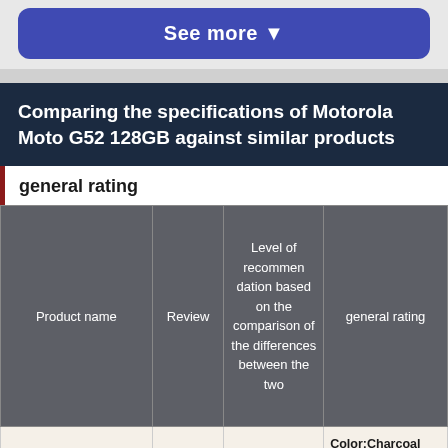See more ▼
Comparing the specifications of Motorola Moto G52 128GB against similar products
general rating
| Product name | Review | Level of recommendation based on the comparison of the differences between the two | general rating |
| --- | --- | --- | --- |
|  |  |  | Color:Charcoal Gray/Porcelain White |